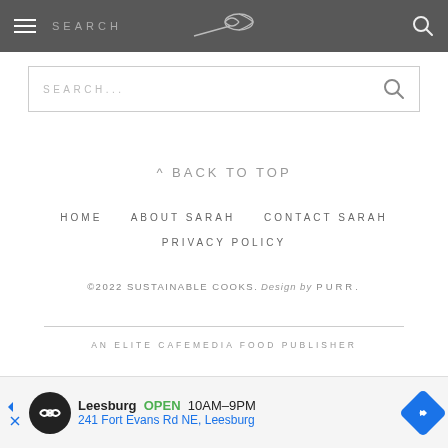SEARCH
SEARCH...
^ BACK TO TOP
HOME   ABOUT SARAH   CONTACT SARAH
PRIVACY POLICY
©2022 SUSTAINABLE COOKS. Design by PURR.
AN ELITE CAFEMEDIA FOOD PUBLISHER
[Figure (other): Advertisement banner: Leesburg OPEN 10AM-9PM, 241 Fort Evans Rd NE, Leesburg]